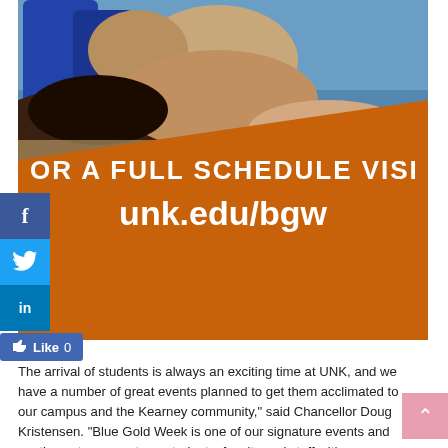[Figure (photo): Photo of students relaxing outdoors, overlaid with an orange banner. Banner reads 'FOR A FULL SCHEDULE VISIT unk.edu/bgw'. Social media buttons for Facebook, Twitter, LinkedIn, and a Like button are visible on the left side.]
The arrival of students is always an exciting time at UNK, and we have a number of great events planned to get them acclimated to our campus and the Kearney community," said Chancellor Doug Kristensen. "Blue Gold Week is one of our signature events and continues to connect our students, faculty and staff with tremendous support UNK gets from so many people."